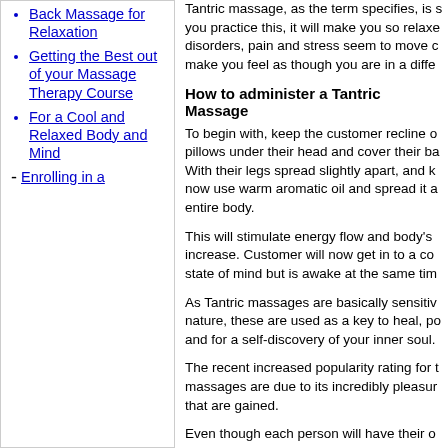Back Massage for Relaxation
Getting the Best out of your Massage Therapy Course
For a Cool and Relaxed Body and Mind
Enrolling in a
Tantric massage, as the term specifies, is so you practice this, it will make you so relaxe disorders, pain and stress seem to move c make you feel as though you are in a diffe
How to administer a Tantric Massage
To begin with, keep the customer recline o pillows under their head and cover their ba With their legs spread slightly apart, and k now use warm aromatic oil and spread it a entire body.
This will stimulate energy flow and body's increase. Customer will now get in to a co state of mind but is awake at the same tim
As Tantric massages are basically sensitiv nature, these are used as a key to heal, po and for a self-discovery of your inner soul.
The recent increased popularity rating for t massages are due to its incredibly pleasur that are gained.
Even though each person will have their o with the administration of Tantric massage are the same.